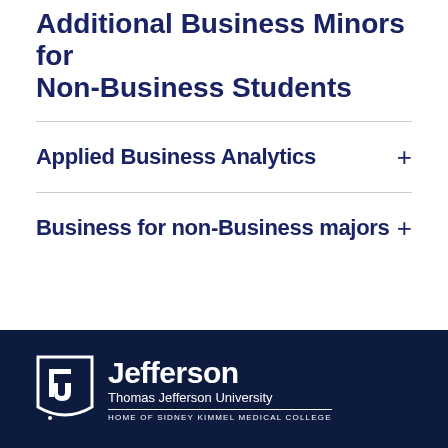Additional Business Minors for Non-Business Students
Applied Business Analytics
Business for non-Business majors
← Go Back to School of Business
[Figure (logo): Jefferson Thomas Jefferson University logo with shield icon and text 'HOME OF SIDNEY KIMMEL MEDICAL COLLEGE' on dark navy background]